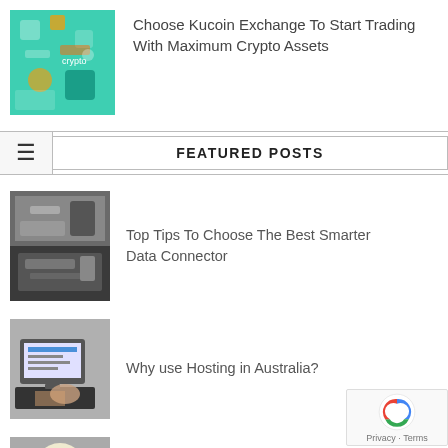[Figure (photo): Colorful crypto/technology illustration with green circuit board theme]
Choose Kucoin Exchange To Start Trading With Maximum Crypto Assets
FEATURED POSTS
[Figure (photo): Collage of data connector/USB hub images]
Top Tips To Choose The Best Smarter Data Connector
[Figure (photo): Person using laptop with WordPress screen]
Why use Hosting in Australia?
[Figure (photo): Person wearing mask and glasses, medical/lab context]
Discussing the 5 Best Data Recovery Software